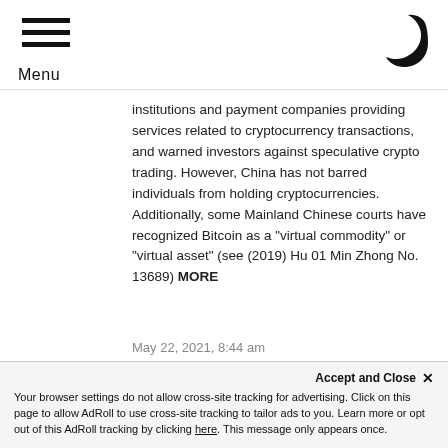Menu
institutions and payment companies providing services related to cryptocurrency transactions, and warned investors against speculative crypto trading. However, China has not barred individuals from holding cryptocurrencies. Additionally, some Mainland Chinese courts have recognized Bitcoin as a “virtual commodity” or “virtual asset” (see (2019) Hu 01 Min Zhong No. 13689) MORE
May 22, 2021, 8:44 am
READ MORE +3122
Accept and Close × Your browser settings do not allow cross-site tracking for advertising. Click on this page to allow AdRoll to use cross-site tracking to tailor ads to you. Learn more or opt out of this AdRoll tracking by clicking here. This message only appears once.